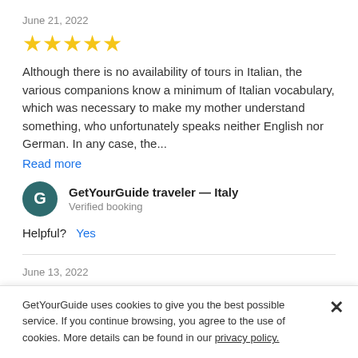June 21, 2022
[Figure (other): 5 yellow stars rating]
Although there is no availability of tours in Italian, the various companions know a minimum of Italian vocabulary, which was necessary to make my mother understand something, who unfortunately speaks neither English nor German. In any case, the...
Read more
GetYourGuide traveler — Italy
Verified booking
Helpful?  Yes
June 13, 2022
[Figure (other): 5 yellow stars rating]
GetYourGuide uses cookies to give you the best possible service. If you continue browsing, you agree to the use of cookies. More details can be found in our privacy policy.